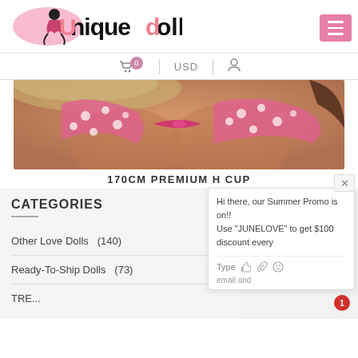[Figure (logo): UniqueDolls website logo with stylized text and female figure illustration in pink and black]
Cart 0 | USD | User Account
[Figure (photo): Close-up product photo showing a doll wearing a pink polka dot bikini top]
170CM PREMIUM H CUP
CATEGORIES
Other Love Dolls  (140)
Ready-To-Ship Dolls  (73)
Hi there, our Summer Promo is on!! Use "JUNELOVE" to get $100 discount every
Type  email and